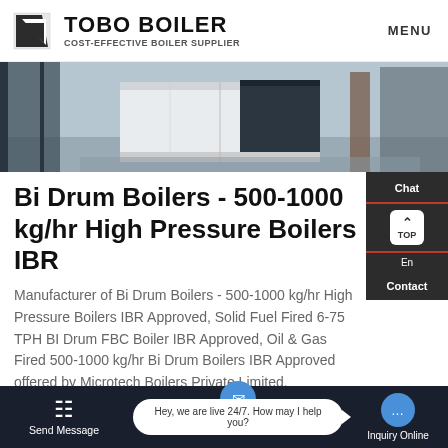TOBO BOILER COST-EFFECTIVE BOILER SUPPLIER | MENU
[Figure (photo): Photo of industrial boiler equipment in a facility, showing white and dark colored boiler units on a concrete floor]
Bi Drum Boilers - 500-1000 kg/hr High Pressure Boilers IBR
Manufacturer of Bi Drum Boilers - 500-1000 kg/hr High Pressure Boilers IBR Approved, Solid Fuel Fired 6-75 TPH BI Drum FBC Boiler IBR Approved, Oil & Gas Fired 500-1000 kg/hr Bi Drum Boilers IBR Approved offered by Microtech Boilers Private Limited, Ahmedabad, Gujarat.
Send Message | Hey, we are live 24/7. How may I help you? | Inquiry Online